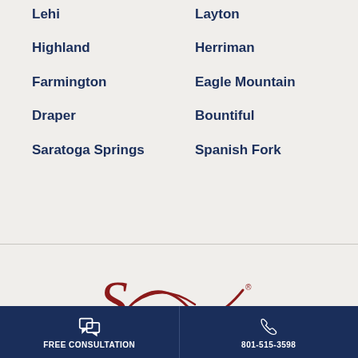Lehi
Layton
Highland
Herriman
Farmington
Eagle Mountain
Draper
Bountiful
Saratoga Springs
Spanish Fork
[Figure (logo): Cursive/script style law firm logo in dark red with registered trademark symbol]
FREE CONSULTATION | 801-515-3598